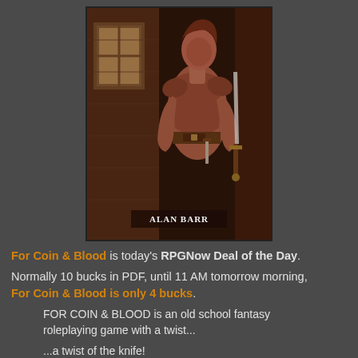[Figure (illustration): Fantasy RPG book cover illustration showing a female warrior in armor holding a sword, standing in a dimly lit stone room with a window. Author name 'Alan Barr' appears at the bottom of the cover image.]
For Coin & Blood is today's RPGNow Deal of the Day.
Normally 10 bucks in PDF, until 11 AM tomorrow morning, For Coin & Blood is only 4 bucks.
FOR COIN & BLOOD is an old school fantasy roleplaying game with a twist...
...a twist of the knife!